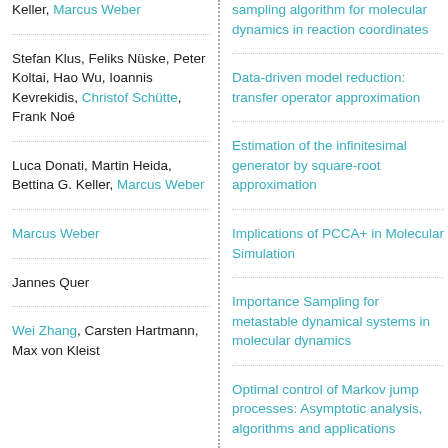Keller, Marcus Weber
sampling algorithm for mo... dynamics in reaction coord...
Stefan Klus, Feliks Nüske, Peter Koltai, Hao Wu, Ioannis Kevrekidis, Christof Schütte, Frank Noé
Data-driven model reductio... transfer operator approxim...
Luca Donati, Martin Heida, Bettina G. Keller, Marcus Weber
Estimation of the infinitesim... generator by square-root approximation
Marcus Weber
Implications of PCCA+ in Molecular Simulation
Jannes Quer
Importance Sampling for metastable dynamical syste... molecular dynamics
Wei Zhang, Carsten Hartmann, Max von Kleist
Optimal control of Markov j... processes: Asymptotic ana... algorithms and applications